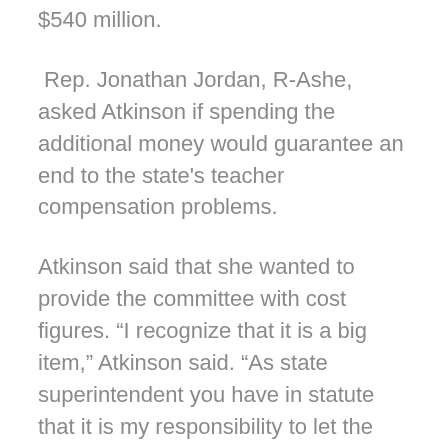$540 million.
Rep. Jonathan Jordan, R-Ashe, asked Atkinson if spending the additional money would guarantee an end to the state's teacher compensation problems.
Atkinson said that she wanted to provide the committee with cost figures. “I recognize that it is a big item,” Atkinson said. “As state superintendent you have in statute that it is my responsibility to let the needs of our schools be known. If I were in your shoes, I would be worrying about that money, too.”